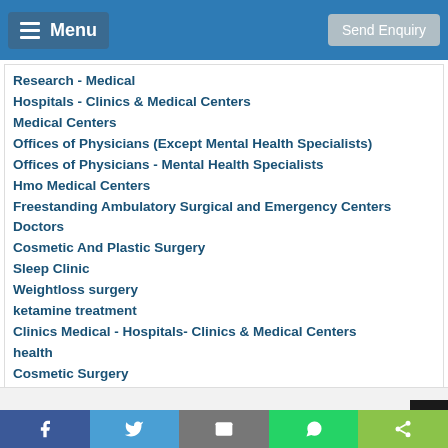Menu | Send Enquiry
Research - Medical
Hospitals - Clinics & Medical Centers
Medical Centers
Offices of Physicians (Except Mental Health Specialists)
Offices of Physicians - Mental Health Specialists
Hmo Medical Centers
Freestanding Ambulatory Surgical and Emergency Centers
Doctors
Cosmetic And Plastic Surgery
Sleep Clinic
Weightloss surgery
ketamine treatment
Clinics Medical - Hospitals- Clinics & Medical Centers
health
Cosmetic Surgery
Medical Supplies